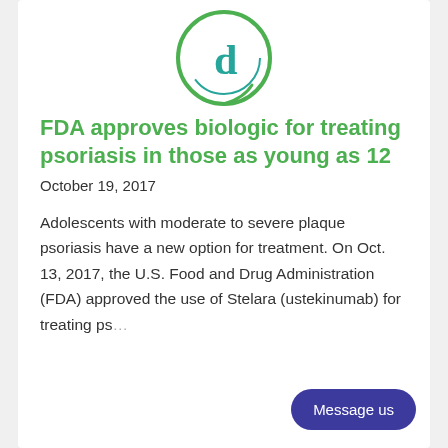[Figure (logo): Circular medical/pharmacy logo with green outer ring and teal letter inside]
FDA approves biologic for treating psoriasis in those as young as 12
October 19, 2017
Adolescents with moderate to severe plaque psoriasis have a new option for treatment. On Oct. 13, 2017, the U.S. Food and Drug Administration (FDA) approved the use of Stelara (ustekinumab) for treating ps...